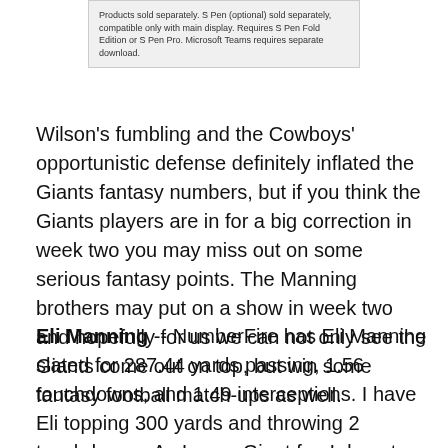[Figure (other): Advertisement box with fine print text about products sold separately, S Pen optional, Microsoft Teams requires separate download.]
Wilson's fumbling and the Cowboys' opportunistic defense definitely inflated the Giants fantasy numbers, but if you think the Giants players are in for a big correction in week two you may miss out on some serious fantasy points. The Manning brothers may put on a show in week two and hopefully for us we can not only see the Giants come out on top, but win some fantasy football match-ups as well.
Eli Manning -- NumberFire has Eli Manning slated for 287.44 yards passing, 1.56 touchdowns, and 1.49 interceptions. I have Eli topping 300 yards and throwing 2 touchdowns. As I am a Giant fan I do not like to give the statistical probability on turnovers, but if